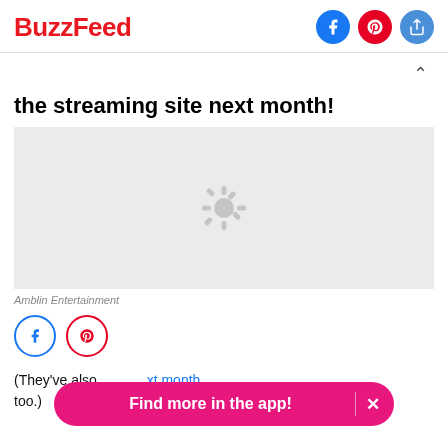BuzzFeed
the streaming site next month!
[Figure (photo): Grey placeholder image with loading spinner icon in the center]
Amblin Entertainment
(They've also [obscured] xt month, too.)
Find more in the app!